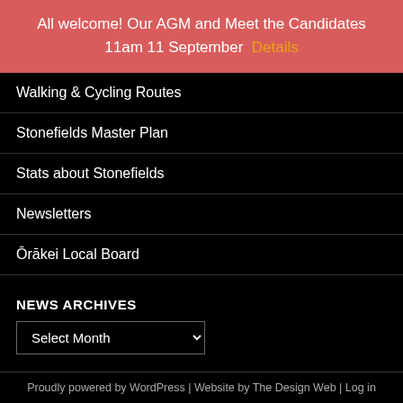All welcome! Our AGM and Meet the Candidates 11am 11 September  Details
Walking & Cycling Routes
Stonefields Master Plan
Stats about Stonefields
Newsletters
Ōrākei Local Board
NEWS ARCHIVES
Select Month
Proudly powered by WordPress | Website by The Design Web | Log in